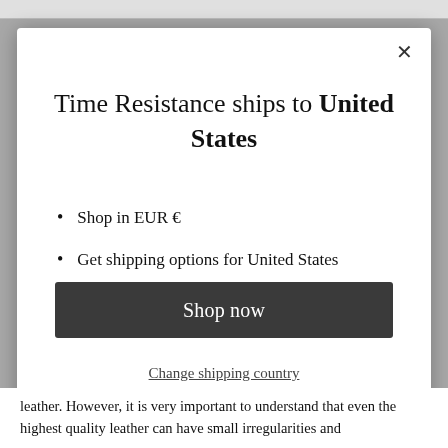Time Resistance ships to United States
Shop in EUR €
Get shipping options for United States
Shop now
Change shipping country
leather. However, it is very important to understand that even the highest quality leather can have small irregularities and